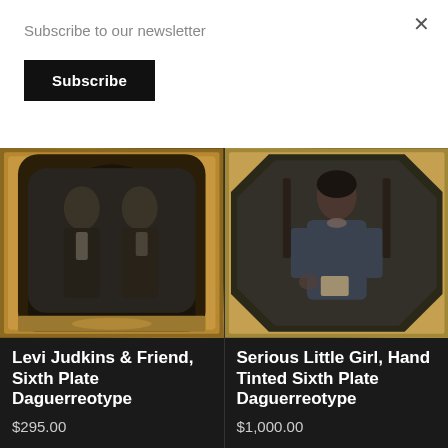Subscribe to our newsletter
Subscribe
×
[Figure (photo): Antique daguerreotype photograph of two men, Levi Judkins and a friend, seated together, in an ornate gold frame. Sixth Plate size.]
Levi Judkins & Friend, Sixth Plate Daguerreotype
$295.00
[Figure (photo): Antique hand-tinted daguerreotype photograph of a serious-looking young girl seated, holding something, in an octagonal gold frame. Sixth Plate size.]
Serious Little Girl, Hand Tinted Sixth Plate Daguerreotype
$1,000.00